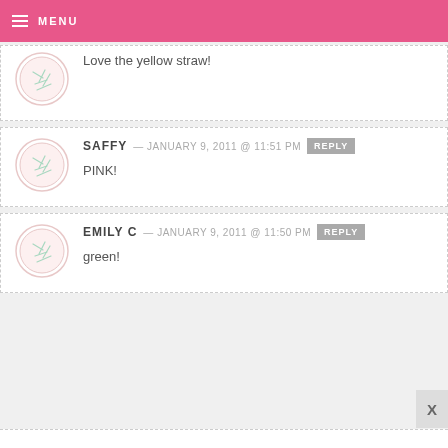MENU
Love the yellow straw!
SAFFY — JANUARY 9, 2011 @ 11:51 PM  REPLY
PINK!
EMILY C — JANUARY 9, 2011 @ 11:50 PM  REPLY
green!